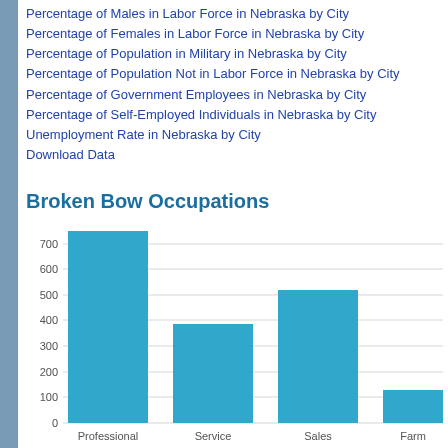Percentage of Males in Labor Force in Nebraska by City
Percentage of Females in Labor Force in Nebraska by City
Percentage of Population in Military in Nebraska by City
Percentage of Population Not in Labor Force in Nebraska by City
Percentage of Government Employees in Nebraska by City
Percentage of Self-Employed Individuals in Nebraska by City
Unemployment Rate in Nebraska by City
Download Data
Broken Bow Occupations
[Figure (bar-chart): Broken Bow Occupations]